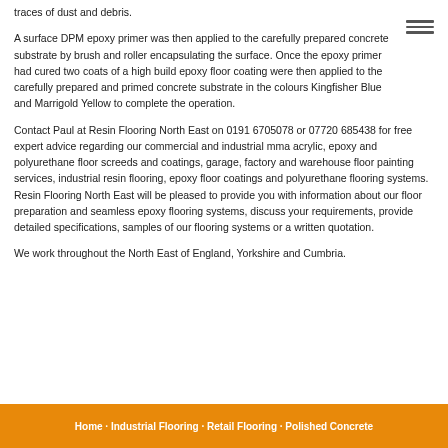traces of dust and debris.
A surface DPM epoxy primer was then applied to the carefully prepared concrete substrate by brush and roller encapsulating the surface. Once the epoxy primer had cured two coats of a high build epoxy floor coating were then applied to the carefully prepared and primed concrete substrate in the colours Kingfisher Blue and Marrigold Yellow to complete the operation.
Contact Paul at Resin Flooring North East on 0191 6705078 or 07720 685438 for free expert advice regarding our commercial and industrial mma acrylic, epoxy and polyurethane floor screeds and coatings, garage, factory and warehouse floor painting services, industrial resin flooring, epoxy floor coatings and polyurethane flooring systems. Resin Flooring North East will be pleased to provide you with information about our floor preparation and seamless epoxy flooring systems, discuss your requirements, provide detailed specifications, samples of our flooring systems or a written quotation.
We work throughout the North East of England, Yorkshire and Cumbria.
Home · Industrial Flooring · Retail Flooring · Polished Concrete